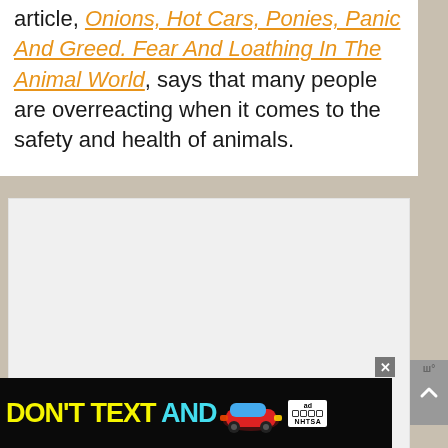article, Onions, Hot Cars, Ponies, Panic And Greed. Fear And Loathing In The Animal World, says that many people are overreacting when it comes to the safety and health of animals.
[Figure (other): Light gray placeholder image area in the middle of the page content]
[Figure (other): Advertisement banner at bottom: DON'T TEXT AND DRIVE with car illustration, NHTSA logo]